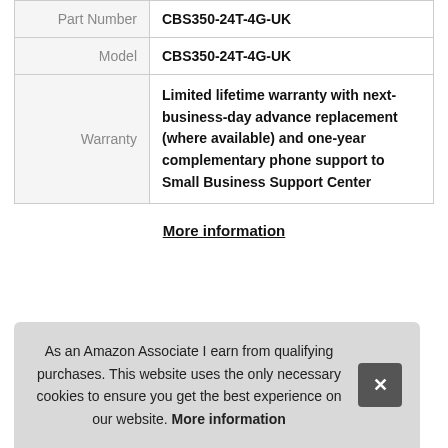| Part Number | CBS350-24T-4G-UK |
| Model | CBS350-24T-4G-UK |
| Warranty | Limited lifetime warranty with next-business-day advance replacement (where available) and one-year complementary phone support to Small Business Support Center |
More information
9. Cisco
As an Amazon Associate I earn from qualifying purchases. This website uses the only necessary cookies to ensure you get the best experience on our website. More information